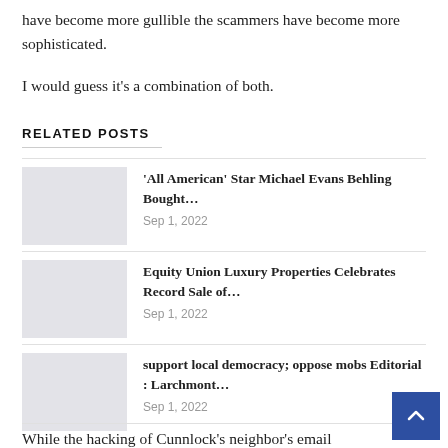have become more gullible the scammers have become more sophisticated.
I would guess it's a combination of both.
RELATED POSTS
'All American' Star Michael Evans Behling Bought…
Sep 1, 2022
Equity Union Luxury Properties Celebrates Record Sale of…
Sep 1, 2022
support local democracy; oppose mobs Editorial : Larchmont…
Sep 1, 2022
While the hacking of Cunnlock's neighbor's email